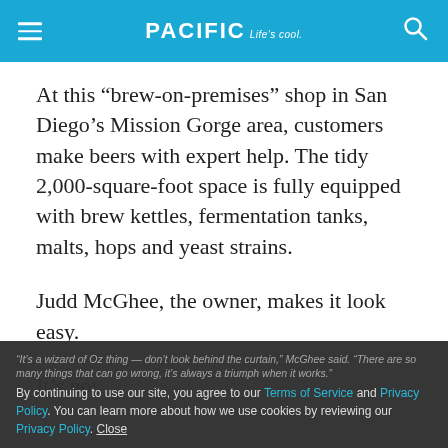PACIFIC Life's cool.
At this “brew-on-premises” shop in San Diego’s Mission Gorge area, customers make beers with expert help. The tidy 2,000-square-foot space is fully equipped with brew kettles, fermentation tanks, malts, hops and yeast strains.
Judd McGhee, the owner, makes it look easy.
It’s not.
By continuing to use our site, you agree to our Terms of Service and Privacy Policy. You can learn more about how we use cookies by reviewing our Privacy Policy. Close
“It’s a wizard of Oz thing — don’t look behind the curtain,” McGhee said. “There are so many things that can go wrong, it’s always a triumph when it works.”